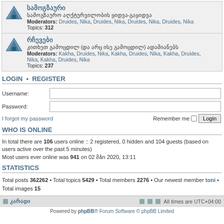სამოგზაუროს აღქტურვილობის ყიდვა-გაყიდვა
Moderators: Druides, Nika, Druides, Nika, Druides, Nika, Druides, Nika
Topics: 312
რჩევები
კითხეთ გამოცდილ (და არც ისე გამოცდილ) ადამიანებს
Moderators: Kakha, Druides, Nika, Kakha, Druides, Nika, Kakha, Druides, Nika, Kakha, Druides, Nika
Topics: 237
LOGIN • REGISTER
Username:
Password:
I forgot my password    Remember me  Login
WHO IS ONLINE
In total there are 106 users online :: 2 registered, 0 hidden and 104 guests (based on users active over the past 5 minutes)
Most users ever online was 941 on 02 მån 2020, 13:11
STATISTICS
Total posts 362262 • Total topics 5429 • Total members 2276 • Our newest member toni • Total images 15
კარაgo   All times are UTC+04:00
Powered by phpBB® Forum Software © phpBB Limited